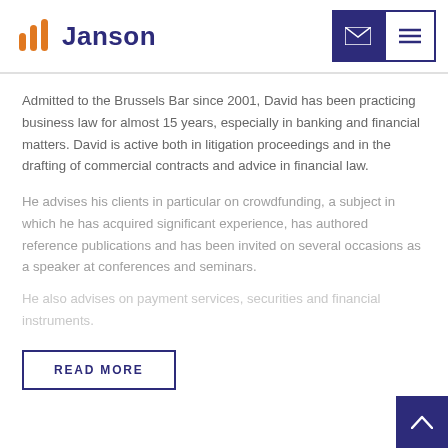Janson
Admitted to the Brussels Bar since 2001, David has been practicing business law for almost 15 years, especially in banking and financial matters. David is active both in litigation proceedings and in the drafting of commercial contracts and advice in financial law.
He advises his clients in particular on crowdfunding, a subject in which he has acquired significant experience, has authored reference publications and has been invited on several occasions as a speaker at conferences and seminars.
He also advises on payment services, securities and financial instruments.
READ MORE